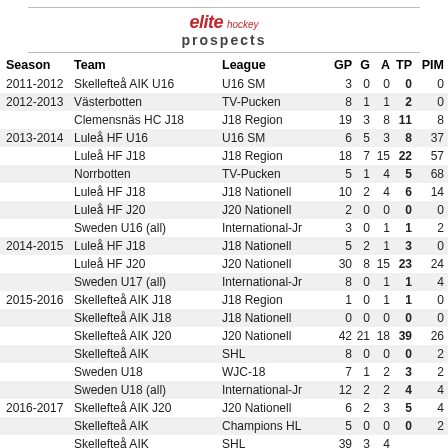[Figure (logo): Elite Hockey Prospects logo with red italic 'elite' text, 'hockey' superscript, and 'prospects' below in dark grey]
| Season | Team | League | GP | G | A | TP | PIM |
| --- | --- | --- | --- | --- | --- | --- | --- |
| 2011-2012 | Skellefteå AIK U16 | U16 SM | 3 | 0 | 0 | 0 | 0 |
| 2012-2013 | Västerbotten | TV-Pucken | 8 | 1 | 1 | 2 | 0 |
|  | Clemensnäs HC J18 | J18 Region | 19 | 3 | 8 | 11 | 8 |
| 2013-2014 | Luleå HF U16 | U16 SM | 6 | 5 | 3 | 8 | 37 |
|  | Luleå HF J18 | J18 Region | 18 | 7 | 15 | 22 | 57 |
|  | Norrbotten | TV-Pucken | 5 | 1 | 4 | 5 | 68 |
|  | Luleå HF J18 | J18 Nationell | 10 | 2 | 4 | 6 | 14 |
|  | Luleå HF J20 | J20 Nationell | 2 | 0 | 0 | 0 | 0 |
|  | Sweden U16 (all) | International-Jr | 3 | 0 | 1 | 1 | 2 |
| 2014-2015 | Luleå HF J18 | J18 Nationell | 5 | 2 | 1 | 3 | 0 |
|  | Luleå HF J20 | J20 Nationell | 30 | 8 | 15 | 23 | 24 |
|  | Sweden U17 (all) | International-Jr | 8 | 0 | 1 | 1 | 4 |
| 2015-2016 | Skellefteå AIK J18 | J18 Region | 1 | 0 | 1 | 1 | 0 |
|  | Skellefteå AIK J18 | J18 Nationell | 0 | 0 | 0 | 0 | 0 |
|  | Skellefteå AIK J20 | J20 Nationell | 42 | 21 | 18 | 39 | 26 |
|  | Skellefteå AIK | SHL | 8 | 0 | 0 | 0 | 2 |
|  | Sweden U18 | WJC-18 | 7 | 1 | 2 | 3 | 2 |
|  | Sweden U18 (all) | International-Jr | 12 | 2 | 2 | 4 | 4 |
| 2016-2017 | Skellefteå AIK J20 | J20 Nationell | 6 | 2 | 3 | 5 | 4 |
|  | Skellefteå AIK | Champions HL | 5 | 0 | 0 | 0 | 2 |
|  | Skellefteå AIK | SHL | 39 | 3 | 4 | … | … |
|  | Sweden U20 | WJC-20 | 7 | 2 | 1 | … | … |
|  | Sweden U20 (all) | International-Jr | 12 | 2 | 1 | 3 | 8 |